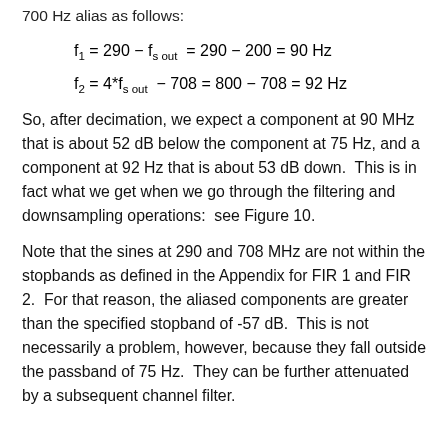700 Hz alias as follows:
So, after decimation, we expect a component at 90 MHz that is about 52 dB below the component at 75 Hz, and a component at 92 Hz that is about 53 dB down.  This is in fact what we get when we go through the filtering and downsampling operations:  see Figure 10.
Note that the sines at 290 and 708 MHz are not within the stopbands as defined in the Appendix for FIR 1 and FIR 2.  For that reason, the aliased components are greater than the specified stopband of -57 dB.  This is not necessarily a problem, however, because they fall outside the passband of 75 Hz.  They can be further attenuated by a subsequent channel filter.